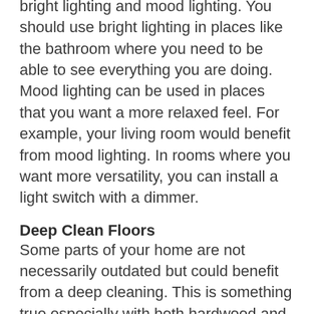types of lighting you can choose from are bright lighting and mood lighting. You should use bright lighting in places like the bathroom where you need to be able to see everything you are doing. Mood lighting can be used in places that you want a more relaxed feel. For example, your living room would benefit from mood lighting. In rooms where you want more versatility, you can install a light switch with a dimmer.
Deep Clean Floors
Some parts of your home are not necessarily outdated but could benefit from a deep cleaning. This is something true especially with both hardwood and carpeted flooring. With hardwood floors, you can improve their appearance by polishing the wood and restoring it to its original shine and color.